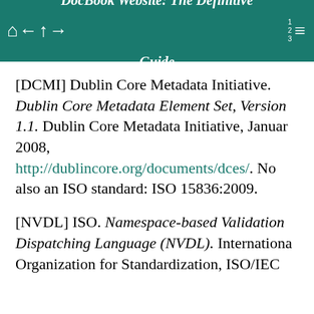DocBook Website: The Definitive Guide
[DCMI] Dublin Core Metadata Initiative. Dublin Core Metadata Element Set, Version 1.1. Dublin Core Metadata Initiative, January 2008, http://dublincore.org/documents/dces/. Now also an ISO standard: ISO 15836:2009.
[NVDL] ISO. Namespace-based Validation Dispatching Language (NVDL). International Organization for Standardization, ISO/IEC